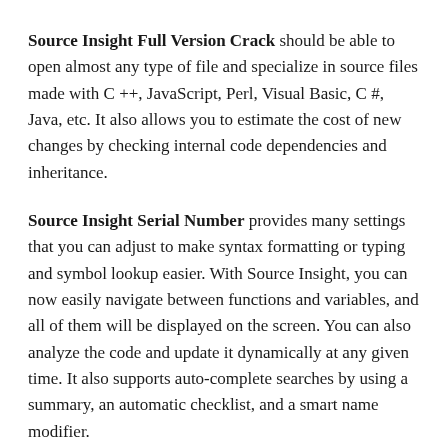Source Insight Full Version Crack should be able to open almost any type of file and specialize in source files made with C ++, JavaScript, Perl, Visual Basic, C #, Java, etc. It also allows you to estimate the cost of new changes by checking internal code dependencies and inheritance.
Source Insight Serial Number provides many settings that you can adjust to make syntax formatting or typing and symbol lookup easier. With Source Insight, you can now easily navigate between functions and variables, and all of them will be displayed on the screen. You can also analyze the code and update it dynamically at any given time. It also supports auto-complete searches by using a summary, an automatic checklist, and a smart name modifier.
You may also like this software SpeedCommander Pro